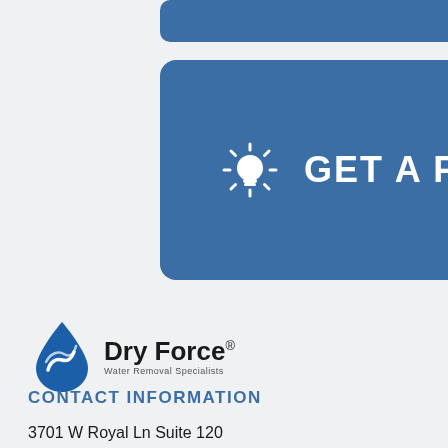[Figure (other): Blue rounded rectangle bar at top (partially visible)]
[Figure (other): Blue rounded rectangle button with lightbulb icon and text GET A FREE ESTIMATE]
[Figure (logo): Dry Force Water Removal Specialists logo with blue water drop/swirl icon]
CONTACT INFORMATION
3701 W Royal Ln Suite 120